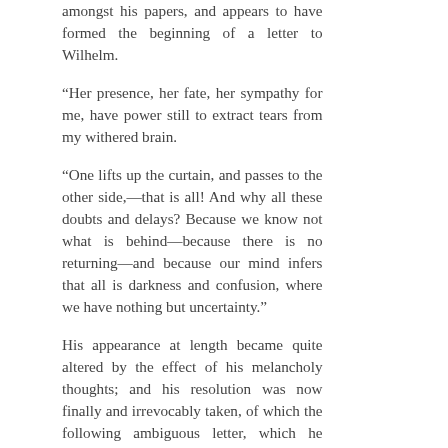amongst his papers, and appears to have formed the beginning of a letter to Wilhelm.
“Her presence, her fate, her sympathy for me, have power still to extract tears from my withered brain.
“One lifts up the curtain, and passes to the other side,—that is all! And why all these doubts and delays? Because we know not what is behind—because there is no returning—and because our mind infers that all is darkness and confusion, where we have nothing but uncertainty.”
His appearance at length became quite altered by the effect of his melancholy thoughts; and his resolution was now finally and irrevocably taken, of which the following ambiguous letter, which he addressed to his friend, may appear to